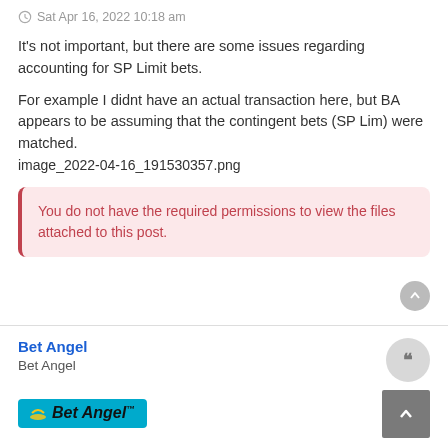Sat Apr 16, 2022 10:18 am
It's not important, but there are some issues regarding accounting for SP Limit bets.
For example I didnt have an actual transaction here, but BA appears to be assuming that the contingent bets (SP Lim) were matched.
image_2022-04-16_191530357.png
You do not have the required permissions to view the files attached to this post.
Bet Angel
Bet Angel
Sat Apr 16, 2022 12:24 pm